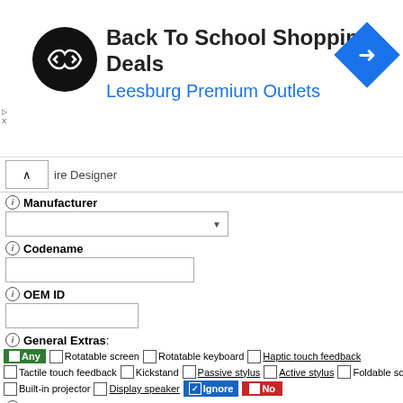[Figure (screenshot): Ad banner: Back To School Shopping Deals at Leesburg Premium Outlets with logo and navigation icon]
ire Designer (collapsed section with dropdown)
ⓘ Manufacturer (dropdown)
ⓘ Codename (text input)
ⓘ OEM ID (text input)
ⓘ General Extras: Any, Rotatable screen, Rotatable keyboard, Haptic touch feedback, Tactile touch feedback, Kickstand, Passive stylus, Active stylus, Foldable screen, Built-in projector, Display speaker, Ignore, No
ⓘ Device Category: Any
Physical Attributes
ⓘ Width
min: 23.4  max: 564  mm
ⓘ Width